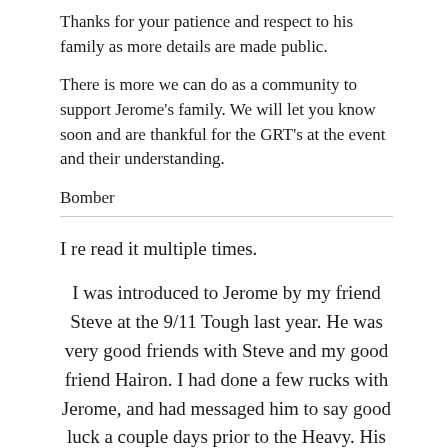Thanks for your patience and respect to his family as more details are made public.
There is more we can do as a community to support Jerome's family. We will let you know soon and are thankful for the GRT's at the event and their understanding.
Bomber
I re read it multiple times.
I was introduced to Jerome by my friend Steve at the 9/11 Tough last year. He was very good friends with Steve and my good friend Hairon. I had done a few rucks with Jerome, and had messaged him to say good luck a couple days prior to the Heavy. His last facebook post said